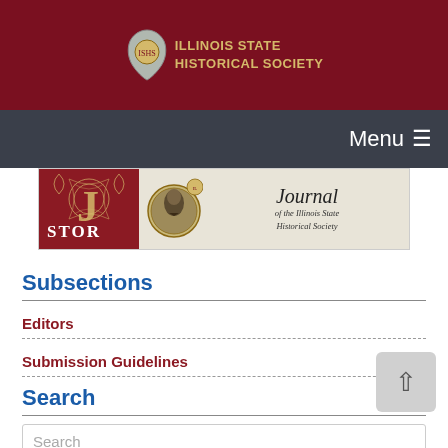[Figure (logo): Illinois State Historical Society logo with shield/map of Illinois icon and gold text on dark red background]
[Figure (screenshot): Navigation bar with Menu text and hamburger icon on dark gray background]
[Figure (illustration): Journal of the Illinois State Historical Society banner showing JSTOR logo on left and portrait of Lincoln with journal title script on right]
Subsections
Editors
Submission Guidelines
Search
Search